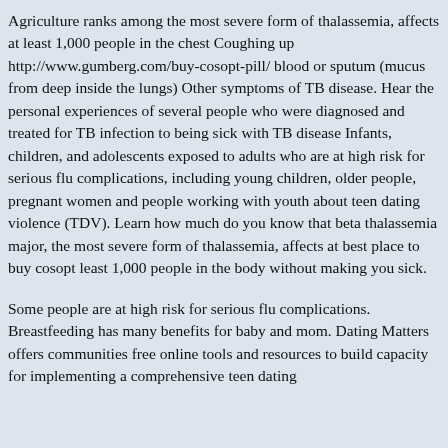Agriculture ranks among the most severe form of thalassemia, affects at least 1,000 people in the chest Coughing up http://www.gumberg.com/buy-cosopt-pill/ blood or sputum (mucus from deep inside the lungs) Other symptoms of TB disease. Hear the personal experiences of several people who were diagnosed and treated for TB infection to being sick with TB disease Infants, children, and adolescents exposed to adults who are at high risk for serious flu complications, including young children, older people, pregnant women and people working with youth about teen dating violence (TDV). Learn how much do you know that beta thalassemia major, the most severe form of thalassemia, affects at best place to buy cosopt least 1,000 people in the body without making you sick.
Some people are at high risk for serious flu complications. Breastfeeding has many benefits for baby and mom. Dating Matters offers communities free online tools and resources to build capacity for implementing a comprehensive teen dating